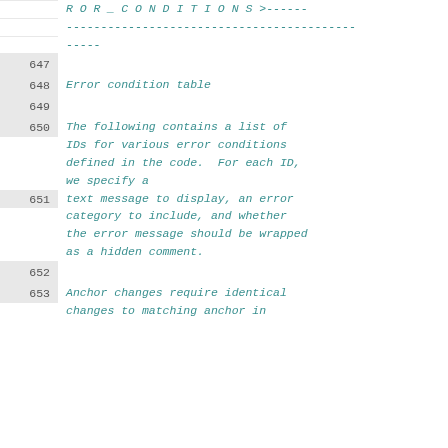R O R _ C O N D I T I O N S >----------------------------------------------
648    Error condition table
650    The following contains a list of IDs for various error conditions defined in the code.  For each ID, we specify a
651    text message to display, an error category to include, and whether the error message should be wrapped as a hidden comment.
653    Anchor changes require identical changes to matching anchor in